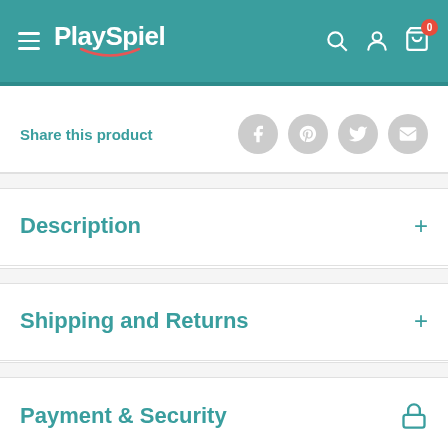PlaySpiel – navigation header with hamburger menu, logo, search, account, and cart icons
Share this product
Description
Shipping and Returns
Payment & Security